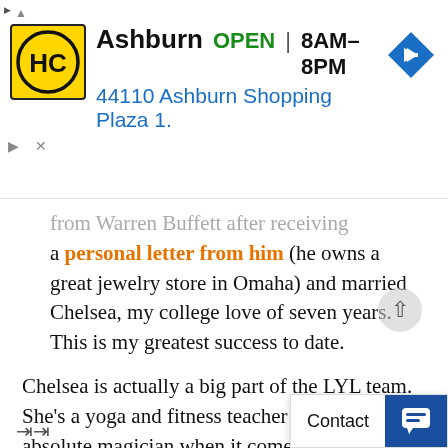[Figure (infographic): Ad banner for HC (Handyman Connection or similar) showing logo, 'Ashburn OPEN 8AM–8PM', address '44110 Ashburn Shopping Plaza 1.', navigation arrow icon, and ad controls (triangle, X).]
from Warren Buffett after receiving a personal letter from him (he owns a great jewelry store in Omaha) and married Chelsea, my college love of seven years. This is my greatest success to date.
Chelsea is actually a big part of the LYL team. She's a yoga and fitness teacher and is an absolute magician when it comes to vegan creations in the kitchen (you have got to check out some of her dishes and brilliant photography at The Simple Kitchen. She's also the most calm and present person I know. All this has earned her the title of Chief Balance Officer. I'd be nowhere without her.